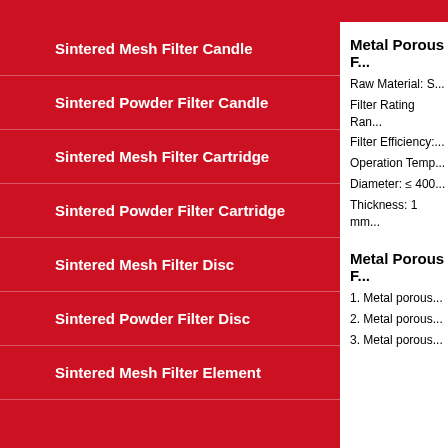Sintered Mesh Filter Candle
Sintered Powder Filter Candle
Sintered Mesh Filter Cartridge
Sintered Powder Filter Cartridge
Sintered Mesh Filter Disc
Sintered Powder Filter Disc
Sintered Mesh Filter Element
Metal Porous F...
Raw Material: S...
Filter Rating Ran...
Filter Efficiency:...
Operation Temp...
Diameter: ≤ 400...
Thickness: 1 mm...
Metal Porous F...
1. Metal porous...
2. Metal porous...
3. Metal porous...